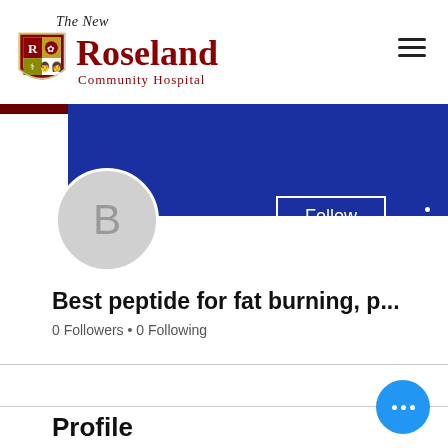[Figure (logo): The New Roseland Community Hospital logo with shield emblem and cursive 'The New' text above]
[Figure (screenshot): Blue banner header background for social/community profile page]
B
Follow
Best peptide for fat burning, p...
0 Followers • 0 Following
Profile